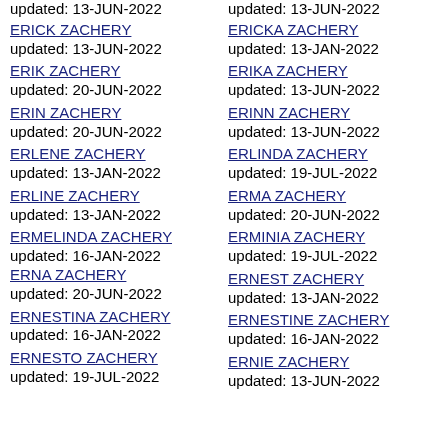updated: 13-JUN-2022 (top partial, left)
ERICK ZACHERY updated: 13-JUN-2022
ERIK ZACHERY updated: 20-JUN-2022
ERIN ZACHERY updated: 20-JUN-2022
ERLENE ZACHERY updated: 13-JAN-2022
ERLINE ZACHERY updated: 13-JAN-2022
ERMELINDA ZACHERY updated: 16-JAN-2022
ERNA ZACHERY updated: 20-JUN-2022
ERNESTINA ZACHERY updated: 16-JAN-2022
ERNESTO ZACHERY updated: 19-JUL-2022
updated: 13-JUN-2022 (top partial, right)
ERICKA ZACHERY updated: 13-JAN-2022
ERIKA ZACHERY updated: 13-JUN-2022
ERINN ZACHERY updated: 13-JUN-2022
ERLINDA ZACHERY updated: 19-JUL-2022
ERMA ZACHERY updated: 20-JUN-2022
ERMINIA ZACHERY updated: 19-JUL-2022
ERNEST ZACHERY updated: 13-JAN-2022
ERNESTINE ZACHERY updated: 16-JAN-2022
ERNIE ZACHERY updated: 13-JUN-2022